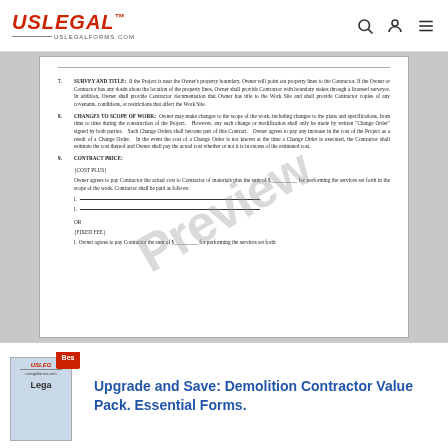USLegalForms.com navigation bar with logo and icons
[Figure (screenshot): Preview of a legal contract document page showing sections 7 (Survey and Title), 8 (Changes to Scope of Work), and 9 (Contract Price) with Cost Plus and Fixed Fee options and blank signature lines. A 'Preview' watermark overlays the document.]
Upgrade and Save: Demolition Contractor Value Pack. Essential Forms.